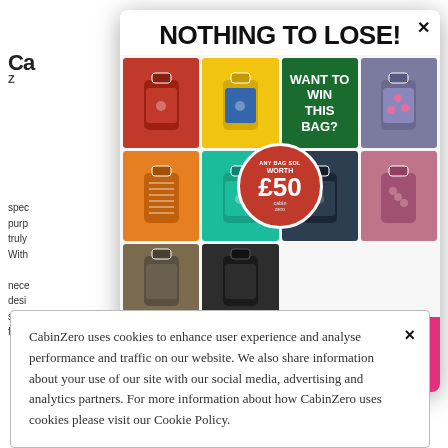[Figure (screenshot): CabinZero website screenshot showing partial logo 'Ca Z' on the left and a shopping cart icon on the right, with partial body text visible]
[Figure (infographic): Promotional popup with header 'NOTHING TO LOSE!' showing a 3x2 grid of colorful cabin bags, a green 'WANT TO WIN THIS BAG?' cell, and a red circular badge 'ANY BAG SOL WORTH £50' with CabinZero branding]
WE GIVE AWAY A FREE BAG A DAY! Enter your name and email to join. T&Cs apply.
CabinZero uses cookies to enhance user experience and analyse performance and traffic on our website. We also share information about your use of our site with our social media, advertising and analytics partners. For more information about how CabinZero uses cookies please visit our Cookie Policy.